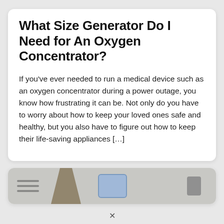What Size Generator Do I Need for An Oxygen Concentrator?
If you've ever needed to run a medical device such as an oxygen concentrator during a power outage, you know how frustrating it can be. Not only do you have to worry about how to keep your loved ones safe and healthy, but you also have to figure out how to keep their life-saving appliances […]
[Figure (photo): Partial photo of a generator or oxygen concentrator device, showing equipment near a wall or outdoor setting, cropped at bottom of card.]